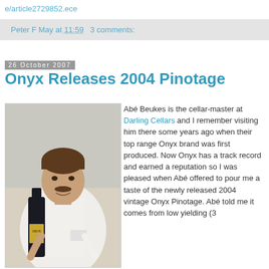e/article2729852.ece
Peter F May at 11:59   3 comments:
26 October 2007
Onyx Releases 2004 Pinotage
[Figure (photo): Man in white shirt holding a dark wine bottle labeled ONYX, smiling at camera]
Abé Beukes is the cellar-master at Darling Cellars and I remember visiting him there some years ago when their top range Onyx brand was first produced. Now Onyx has a track record and earned a reputation so I was pleased when Abé offered to pour me a taste of the newly released 2004 vintage Onyx Pinotage. Abé told me it comes from low yielding (3 t...